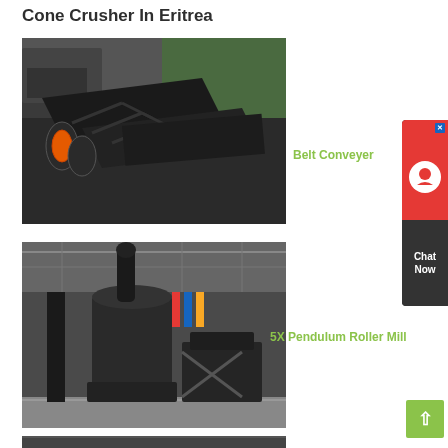Cone Crusher In Eritrea
[Figure (photo): Industrial belt conveyor system with chevron rubber belts laid out in a warehouse or factory setting, with trucks visible in background]
Belt Conveyer
[Figure (photo): 5X Pendulum Roller Mill industrial grinding machine inside a large factory hall with overhead cranes and banners visible]
5X Pendulum Roller Mill
[Figure (photo): Partial view of another industrial machine at the bottom of the page]